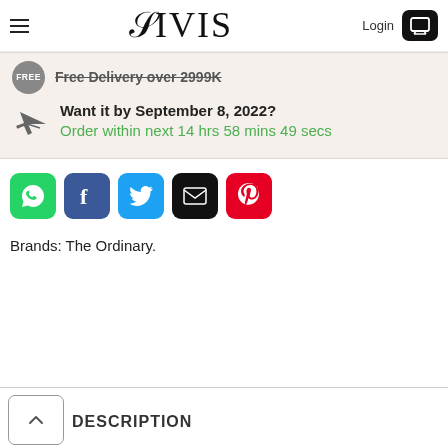VIVIS | Login
Free Delivery over 2999K
Want it by September 8, 2022?
Order within next 14 hrs 58 mins 49 secs
[Figure (other): Social share buttons: WhatsApp, Facebook, Twitter, Email, Pinterest]
Brands: The Ordinary.
DESCRIPTION